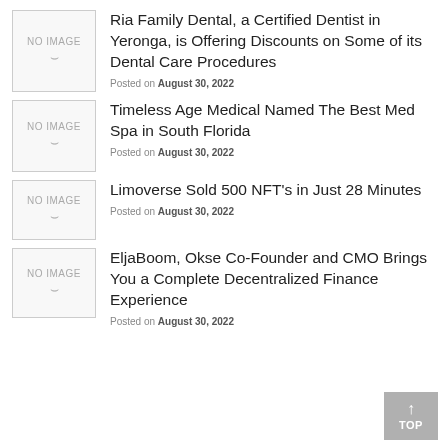[Figure (other): No image placeholder box with 'NO IMAGE' text and smile icon]
Ria Family Dental, a Certified Dentist in Yeronga, is Offering Discounts on Some of its Dental Care Procedures
Posted on August 30, 2022
[Figure (other): No image placeholder box with 'NO IMAGE' text and smile icon]
Timeless Age Medical Named The Best Med Spa in South Florida
Posted on August 30, 2022
[Figure (other): No image placeholder box with 'NO IMAGE' text and smile icon]
Limoverse Sold 500 NFT's in Just 28 Minutes
Posted on August 30, 2022
[Figure (other): No image placeholder box with 'NO IMAGE' text and smile icon]
EljaBoom, Okse Co-Founder and CMO Brings You a Complete Decentralized Finance Experience
Posted on August 30, 2022